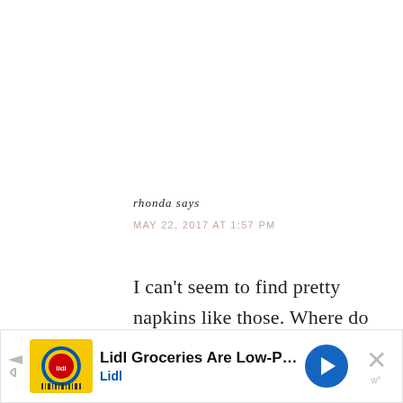rhonda says
MAY 22, 2017 AT 1:57 PM
I can't seem to find pretty napkins like those. Where do you find them? I love them!
JEN says
[Figure (screenshot): Advertisement banner: Lidl Groceries Are Low-Priced, with Lidl logo and navigation arrow icon, and close button with X]